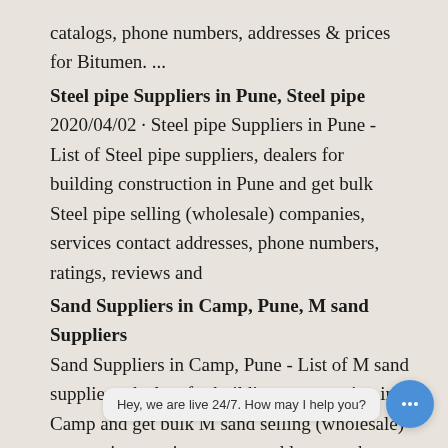catalogs, phone numbers, addresses & prices for Bitumen. ...
Steel pipe Suppliers in Pune, Steel pipe
2020/04/02 · Steel pipe Suppliers in Pune - List of Steel pipe suppliers, dealers for building construction in Pune and get bulk Steel pipe selling (wholesale) companies, services contact addresses, phone numbers, ratings, reviews and
Sand Suppliers in Camp, Pune, M sand Suppliers
Sand Suppliers in Camp, Pune - List of M sand suppliers, dealers for building construction in Camp and get bulk M sand selling (wholesale) companies, services contact addresses, phone numbers, ratings, reviews and Sulekha score
Construction Material Dealers in Pune, Building Supplies for Sale
Construction Material Dealers in Pune - List construction material for sales in Pune and get building construction material supplier contact addresses, phone numbers, ratings...